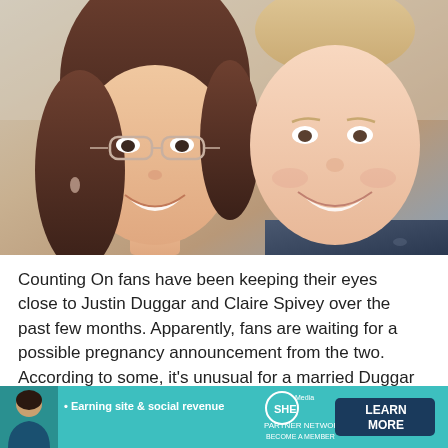[Figure (photo): Selfie photo of two people smiling — a woman with glasses and long brown hair on the left, and a young man with short blonde hair wearing a patterned dark shirt on the right.]
Counting On fans have been keeping their eyes close to Justin Duggar and Claire Spivey over the past few months. Apparently, fans are waiting for a possible pregnancy announcement from the two. According to some, it's unusual for a married Duggar to have no kids such a long time after getting married. However, it seems that
read more
[Figure (infographic): Advertisement banner: SHE Media Partner Network — 'Earning site & social revenue. Become a Member. Learn More.' Teal/cyan background with a woman avatar on the left side.]